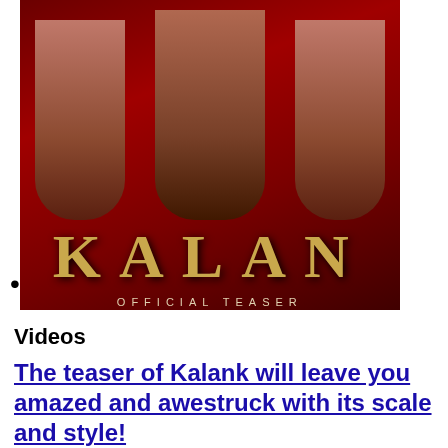[Figure (photo): Kalank Official Teaser movie poster showing actors in red dramatic lighting with the word KALANK in gold letters]
•
Videos
The teaser of Kalank will leave you amazed and awestruck with its scale and style!
By Vinamra Mathur March 12, 2019
[Figure (photo): Laila song promotional image showing two people with text LAILA SONG OUT NOW]